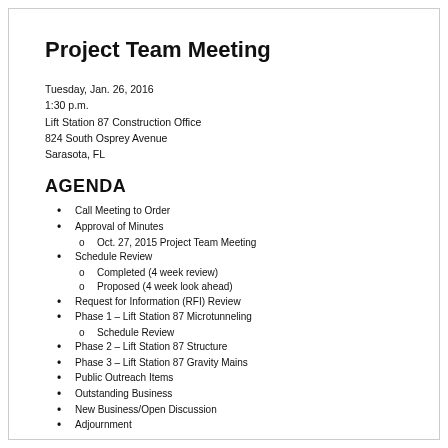Project Team Meeting
Tuesday, Jan. 26, 2016
1:30 p.m.
Lift Station 87 Construction Office
824 South Osprey Avenue
Sarasota, FL
AGENDA
Call Meeting to Order
Approval of Minutes
Oct. 27, 2015 Project Team Meeting
Schedule Review
Completed (4 week review)
Proposed (4 week look ahead)
Request for Information (RFI) Review
Phase 1 – Lift Station 87 Microtunneling
Schedule Review
Phase 2 – Lift Station 87 Structure
Phase 3 – Lift Station 87 Gravity Mains
Public Outreach Items
Outstanding Business
New Business/Open Discussion
Adjournment